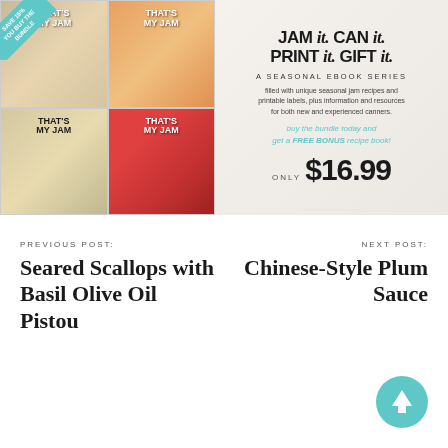[Figure (infographic): Advertisement banner for 'That's My Jam' seasonal ebook series. Left half shows four book covers in a 2x2 grid with fruit and jam jar photography. Top left has peaches/lavender theme, top right has citrus/orange theme, bottom left has pears/green theme, bottom right has strawberry/red theme. A teal ribbon in top-left corner reads 'SAVE 15% YOU BUY THE BUNDLE'. Right half on marble-textured background shows text: 'JAM it. CAN it. PRINT it. GIFT it.' followed by 'A SEASONAL EBOOK SERIES', description text, teal CTA text, and price '$16.99'.]
PREVIOUS POST:
Seared Scallops with Basil Olive Oil Pistou
NEXT POST:
Chinese-Style Plum Sauce